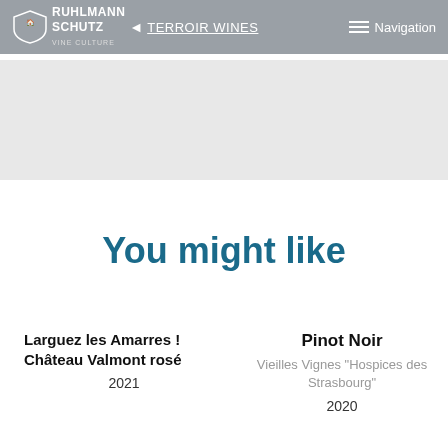RUHLMANN SCHUTZ ◄ TERROIR WINES Navigation
[Figure (other): Gray banner placeholder area]
You might like
Larguez les Amarres ! Château Valmont rosé
2021
Pinot Noir
Vieilles Vignes "Hospices des Strasbourg"
2020